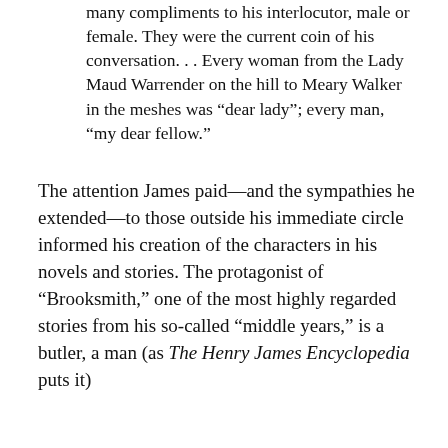many compliments to his interlocutor, male or female. They were the current coin of his conversation. . . Every woman from the Lady Maud Warrender on the hill to Meary Walker in the meshes was “dear lady”; every man, “my dear fellow.”
The attention James paid—and the sympathies he extended—to those outside his immediate circle informed his creation of the characters in his novels and stories. The protagonist of “Brooksmith,” one of the most highly regarded stories from his so-called “middle years,” is a butler, a man (as The Henry James Encyclopedia puts it)